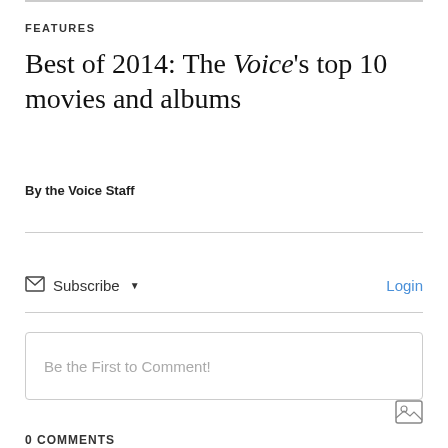FEATURES
Best of 2014: The Voice's top 10 movies and albums
By the Voice Staff
Subscribe ▾
Login
Be the First to Comment!
0 COMMENTS